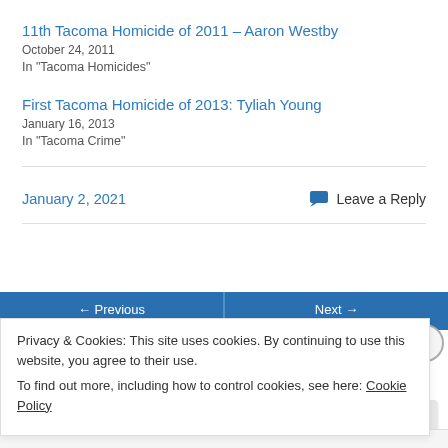11th Tacoma Homicide of 2011 – Aaron Westby
October 24, 2011
In "Tacoma Homicides"
First Tacoma Homicide of 2013: Tyliah Young
January 16, 2013
In "Tacoma Crime"
January 2, 2021
Leave a Reply
Privacy & Cookies: This site uses cookies. By continuing to use this website, you agree to their use.
To find out more, including how to control cookies, see here: Cookie Policy